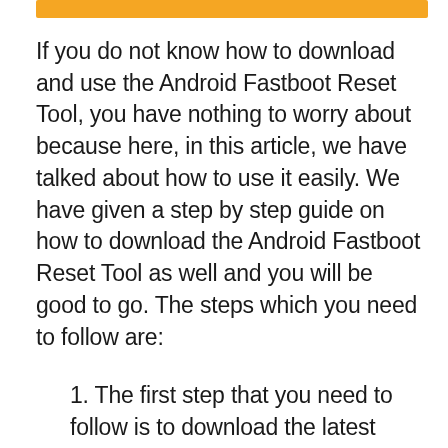[Figure (other): Orange decorative horizontal bar at top of page]
If you do not know how to download and use the Android Fastboot Reset Tool, you have nothing to worry about because here, in this article, we have talked about how to use it easily. We have given a step by step guide on how to download the Android Fastboot Reset Tool as well and you will be good to go. The steps which you need to follow are:
1. The first step that you need to follow is to download the latest